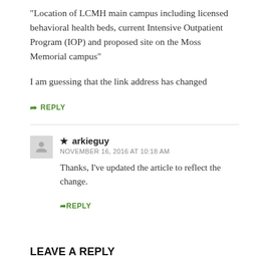“Location of LCMH main campus including licensed behavioral health beds, current Intensive Outpatient Program (IOP) and proposed site on the Moss Memorial campus”
I am guessing that the link address has changed
→ REPLY
★ arkieguy
NOVEMBER 16, 2016 AT 10:18 AM
Thanks, I’ve updated the article to reflect the change.
→ REPLY
LEAVE A REPLY